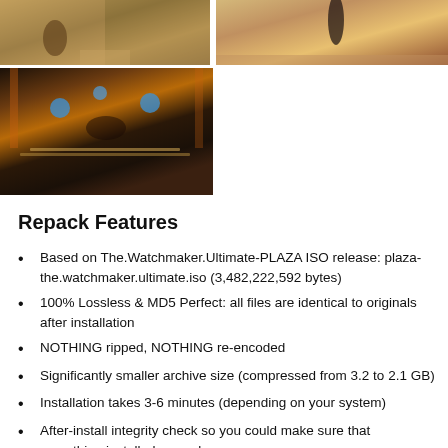[Figure (photo): Two video game screenshot images side by side at top: left shows a character in a desert/marketplace environment, right shows a tall dark-dressed character in a similar 3D game scene.]
[Figure (photo): Video game screenshot showing an interior scene with ornate balcony railing, warm orange/yellow lighting from wall sconces and candles, blue glowing ceiling lights, in a 3D game environment.]
Repack Features
Based on The.Watchmaker.Ultimate-PLAZA ISO release: plaza-the.watchmaker.ultimate.iso (3,482,222,592 bytes)
100% Lossless & MD5 Perfect: all files are identical to originals after installation
NOTHING ripped, NOTHING re-encoded
Significantly smaller archive size (compressed from 3.2 to 2.1 GB)
Installation takes 3-6 minutes (depending on your system)
After-install integrity check so you could make sure that everything installed properly